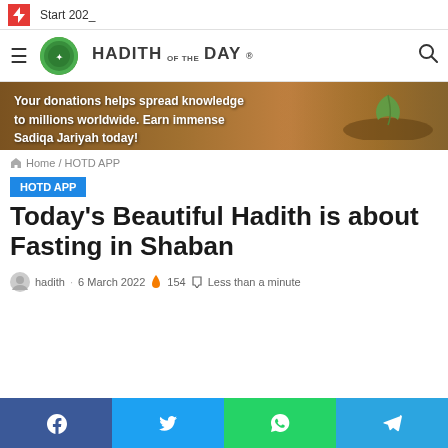Start 202_
[Figure (logo): Hadith of the Day logo with green circular emblem and text HADITH OF THE DAY]
[Figure (photo): Banner image: Your donations helps spread knowledge to millions worldwide. Earn immense Sadiqa Jariyah today!]
Home / HOTD APP
HOTD APP
Today's Beautiful Hadith is about Fasting in Shaban
hadith · 6 March 2022 🔥 154 🏷 Less than a minute